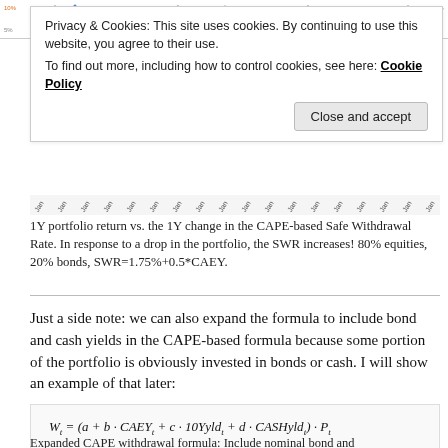[Figure (continuous-plot): Line chart strip showing 1Y portfolio return vs 1Y change in CAPE-based Safe Withdrawal Rate over time, with Jan axis labels. Blue and orange lines visible.]
Privacy & Cookies: This site uses cookies. By continuing to use this website, you agree to their use.
To find out more, including how to control cookies, see here: Cookie Policy
Close and accept
1Y portfolio return vs. the 1Y change in the CAPE-based Safe Withdrawal Rate. In response to a drop in the portfolio, the SWR increases! 80% equities, 20% bonds, SWR=1.75%+0.5*CAEY.
Just a side note: we can also expand the formula to include bond and cash yields in the CAPE-based formula because some portion of the portfolio is obviously invested in bonds or cash. I will show an example of that later:
Expanded CAPE withdrawal formula: Include nominal bond and